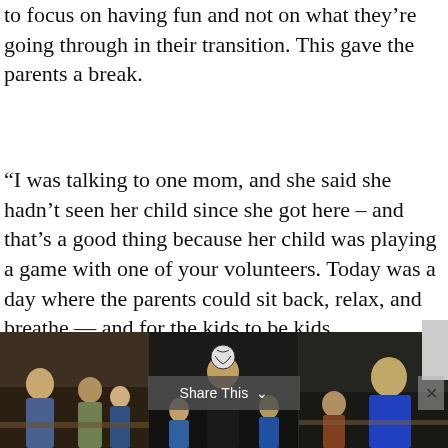to focus on having fun and not on what they're going through in their transition. This gave the parents a break.
“I was talking to one mom, and she said she hadn’t seen her child since she got here – and that’s a good thing because her child was playing a game with one of your volunteers. Today was a day where the parents could sit back, relax, and breathe — and for the kids to be kids.
ATTH’s next project will be held April 8 at Cass Community Social Services.
[Figure (photo): Three photos side by side at the bottom of the page showing people at a community event. Left photo shows adults and children sitting together indoors. Middle photo shows a person with a soccer ball. Right photo shows a person in a blue shirt leaning over a table with children.]